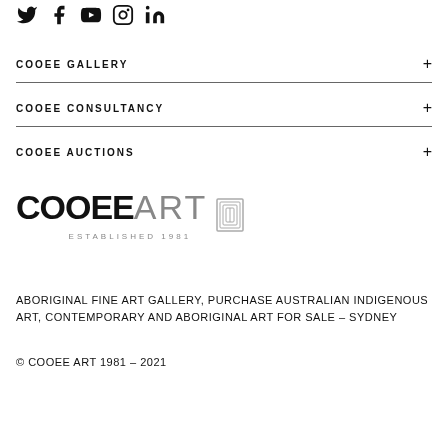[Figure (illustration): Row of five social media icons: Twitter, Facebook, YouTube, Instagram, LinkedIn]
COOEE GALLERY +
COOEE CONSULTANCY +
COOEE AUCTIONS +
[Figure (logo): Cooee Art logo with text COOEE ART and ESTABLISHED 1981]
ABORIGINAL FINE ART GALLERY, PURCHASE AUSTRALIAN INDIGENOUS ART, CONTEMPORARY AND ABORIGINAL ART FOR SALE – SYDNEY
© COOEE ART 1981 – 2021